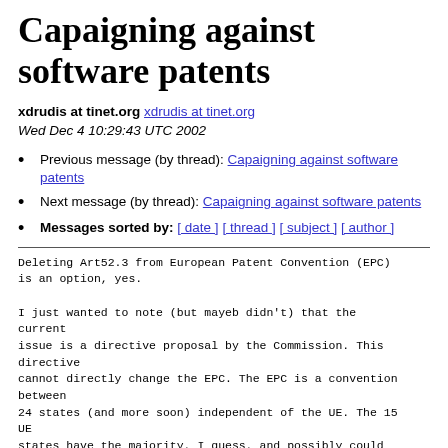Capaigning against software patents
xdrudis at tinet.org xdrudis at tinet.org
Wed Dec 4 10:29:43 UTC 2002
Previous message (by thread): Capaigning against software patents
Next message (by thread): Capaigning against software patents
Messages sorted by: [ date ] [ thread ] [ subject ] [ author ]
Deleting Art52.3 from European Patent Convention (EPC)
is an option, yes.

I just wanted to note (but mayeb didn't) that the
current
issue is a directive proposal by the Commission. This
directive
cannot directly change the EPC. The EPC is a convention
between
24 states (and more soon) independent of the UE. The 15
UE
states have the majority, I guess, and possibly could